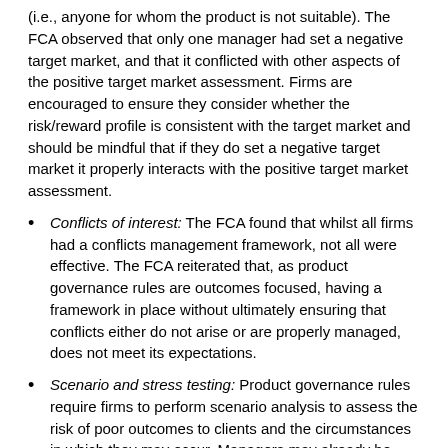(i.e., anyone for whom the product is not suitable). The FCA observed that only one manager had set a negative target market, and that it conflicted with other aspects of the positive target market assessment. Firms are encouraged to ensure they consider whether the risk/reward profile is consistent with the target market and should be mindful that if they do set a negative target market it properly interacts with the positive target market assessment.
Conflicts of interest: The FCA found that whilst all firms had a conflicts management framework, not all were effective. The FCA reiterated that, as product governance rules are outcomes focused, having a framework in place without ultimately ensuring that conflicts either do not arise or are properly managed, does not meet its expectations.
Scenario and stress testing: Product governance rules require firms to perform scenario analysis to assess the risk of poor outcomes to clients and the circumstances in which they may occur. Managers may already be required to perform stress testing under, for example, UCITS or Packaged Retail and Insurance-based Investment Products (PRIIPs), and the FCA's sample found that all managers